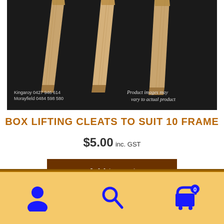[Figure (photo): Wooden box lifting cleats (timber slats) laid out on a dark background. Text overlay at bottom-left: 'Kingaroy 0427 946 614 / Morayfield 0484 598 580'. Text overlay at bottom-right in cursive: 'Product images may vary to actual product']
BOX LIFTING CLEATS TO SUIT 10 FRAME
$5.00 inc. GST
Add to cart
User icon, Search icon, Cart icon with badge 0